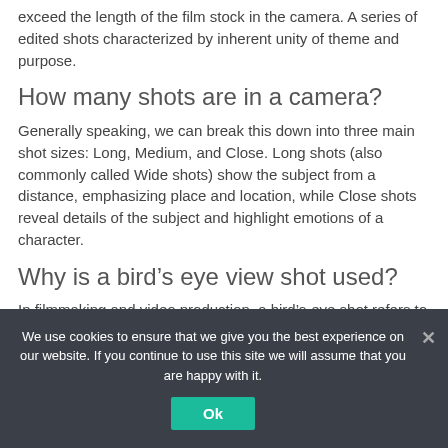exceed the length of the film stock in the camera. A series of edited shots characterized by inherent unity of theme and purpose.
How many shots are in a camera?
Generally speaking, we can break this down into three main shot sizes: Long, Medium, and Close. Long shots (also commonly called Wide shots) show the subject from a distance, emphasizing place and location, while Close shots reveal details of the subject and highlight emotions of a character.
Why is a bird’s eye view shot used?
In filmmaking and video production, a bird’s-eye shot refers to a shot looking directly down on the subject. This shot can be used to
We use cookies to ensure that we give you the best experience on our website. If you continue to use this site we will assume that you are happy with it.